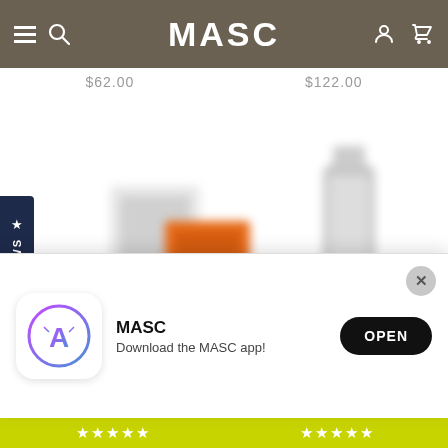MASC
$62.00   $122.00
[Figure (photo): Two blurred product images: left shows orange and white skincare boxes, right shows a white bottle/tube]
REVIEWS
Dr. Dennis Gross   Dr. Dennis Gross
[Figure (screenshot): App download banner showing MASC app icon with App Store logo, text MASC and Download the MASC app!, and an OPEN button]
MASC
Download the MASC app!